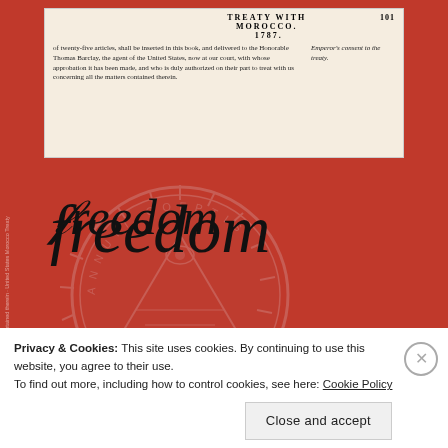[Figure (screenshot): Scanned page from Treaty with Morocco, 1787, page 101. Text reads: 'of twenty-five articles, shall be inserted in this book, and delivered to the Honorable Thomas Barclay, the agent of the United States, now at our court, with whose approbation it has been made, and who is duly authorized on their part to treat with us concerning all the matters contained therein.' Side note: 'Emperor's consent to the treaty.']
[Figure (illustration): Red background with a large watermark of the US Great Seal (pyramid with eye). Overlaid with cursive script word 'freedom' in black handwriting. Below, a quote in yellow text: 'This Constitution, and the laws of the United States which shall be made in pursuance thereof; and all treaties made; or which shall']
Privacy & Cookies: This site uses cookies. By continuing to use this website, you agree to their use.
To find out more, including how to control cookies, see here: Cookie Policy
Close and accept